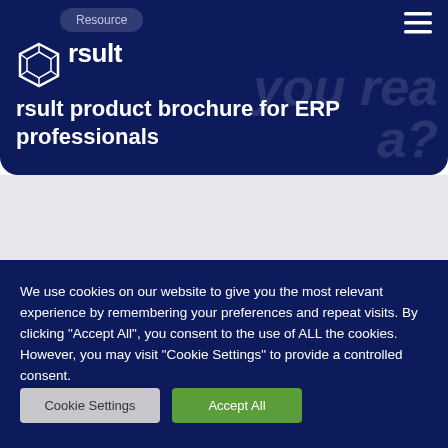[Figure (screenshot): Dark navy blue website header section with rsult logo, navigation Resource button, hamburger menu icon, page title 'rsult product brochure for ERP professionals', and faint italic watermark text 'you rea...' in background]
rsult product brochure for ERP professionals
We use cookies on our website to give you the most relevant experience by remembering your preferences and repeat visits. By clicking "Accept All", you consent to the use of ALL the cookies. However, you may visit "Cookie Settings" to provide a controlled consent.
Cookie Settings
Accept All